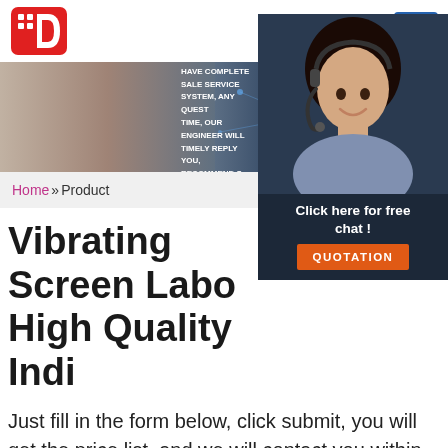Logo and navigation menu
[Figure (screenshot): Website banner with customer service representatives and text: OUR COMPANY HAVE COMPLETE SALE SERVICE SYSTEM, ANY QUEST TIME, OUR ENGINEER WILL TIMELY REPLY YOU, RECOMMEND S — with 24/7 Online label on the right]
[Figure (photo): Customer service agent photo with headset, smiling woman, with 'Click here for free chat!' text and QUOTATION button overlay]
Home »Product
Vibrating Screen Labo High Quality Indi
Just fill in the form below, click submit, you will get the price list, and we will contact you within one working day. Please also feel free to contact us via email or phone. (* is required).